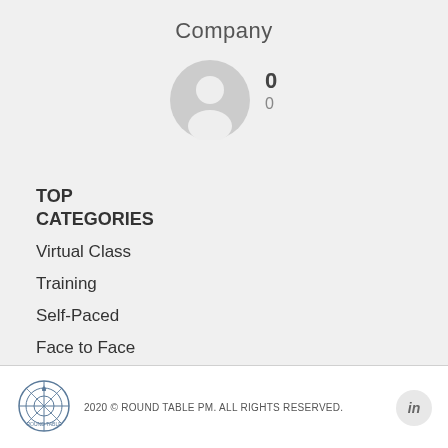Company
[Figure (illustration): Generic user avatar icon — gray circle with white person silhouette]
0
0
TOP CATEGORIES
Virtual Class
Training
Self-Paced
Face to Face
Consulting
2020 © ROUND TABLE PM. ALL RIGHTS RESERVED.